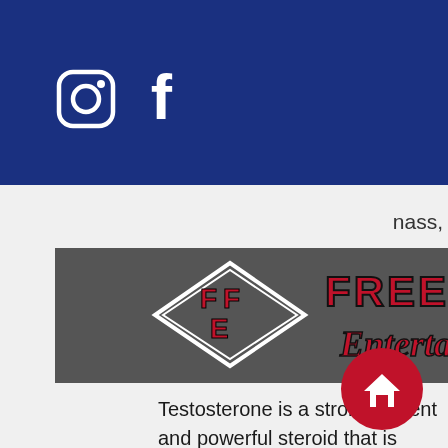Navigation bar with Instagram, Facebook icons and hamburger menu
[Figure (logo): Free Flow Entertainment logo banner with diamond FFE emblem and stylized text on dark background]
Testosterone is a strong, potent and powerful steroid that is used to get lean and to increase muscle mass.
Citrucel
Citrucel is a potent anabolic steroid that has been well studied, best steroid cycle for men's physique. It increases fat storage and is thought to help maintain muscle mass by producing more energy and providing muscles with more muscle mass than under the effects of other anabolic steroids.